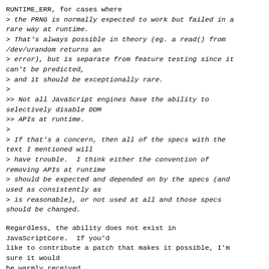RUNTIME_ERR, for cases where
> the PRNG is normally expected to work but failed in a rare way at runtime.
> That's always possible in theory (eg. a read() from /dev/urandom returns an
> error), but is separate from feature testing since it can't be predicted,
> and it should be exceptionally rare.
>
>> Not all JavaScript engines have the ability to selectively disable DOM
>> APIs at runtime.
>
> If that's a concern, then all of the specs with the text I mentioned will
> have trouble.  I think either the convention of removing APIs at runtime
> should be expected and depended on by the specs (and used as consistently as
> is reasonable), or not used at all and those specs should be changed.
Regardless, the ability does not exist in JavaScriptCore.  If you'd
like to contribute a patch that makes it possible, I'm sure it would
be warmly received.
Adam